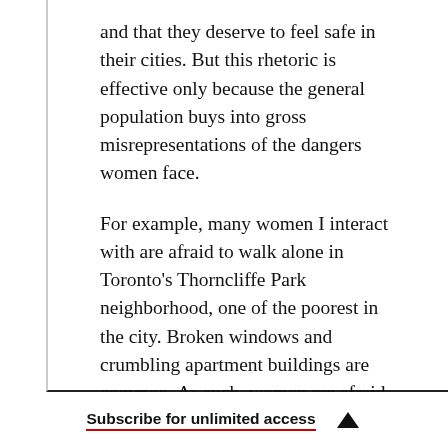and that they deserve to feel safe in their cities. But this rhetoric is effective only because the general population buys into gross misrepresentations of the dangers women face.
For example, many women I interact with are afraid to walk alone in Toronto's Thorncliffe Park neighborhood, one of the poorest in the city. Broken windows and crumbling apartment buildings are common. As such, women are afraid of being assaulted or robbed. These women are likely unaware
Subscribe for unlimited access